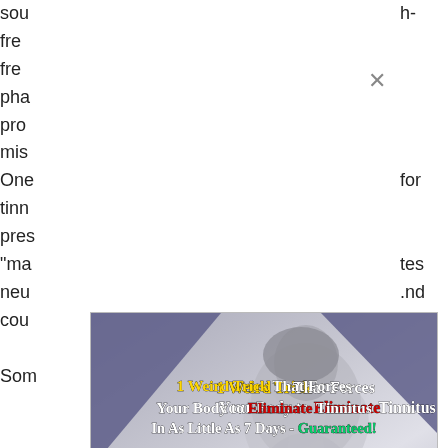sou
fre
fre
pha
pro
mis
One
tinn
pres
"ma
neu
cou
Som
h-





for


tes
.nd

t) a
[Figure (infographic): Advertisement popup showing a woman in distress holding her head, with text: '1 Weird Trick That Forces Your Body to Eliminate Tinnitus In As Little As 7 Days - Guaranteed!' and a 'Take me there' button. Purple triangular decorations in corners. Close button (X) in top right.]